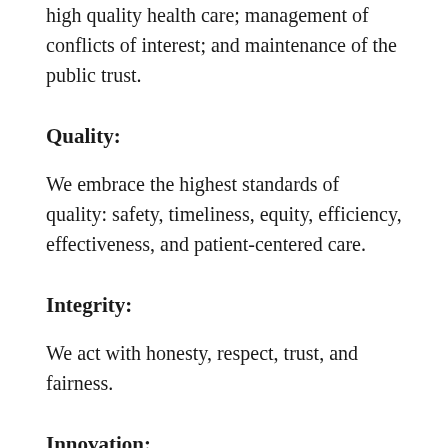high quality health care; management of conflicts of interest; and maintenance of the public trust.
Quality:
We embrace the highest standards of quality: safety, timeliness, equity, efficiency, effectiveness, and patient-centered care.
Integrity:
We act with honesty, respect, trust, and fairness.
Innovation:
We take pride in our history and traditions as a learning organization committed to continuous improvement, innovation and the advancement of